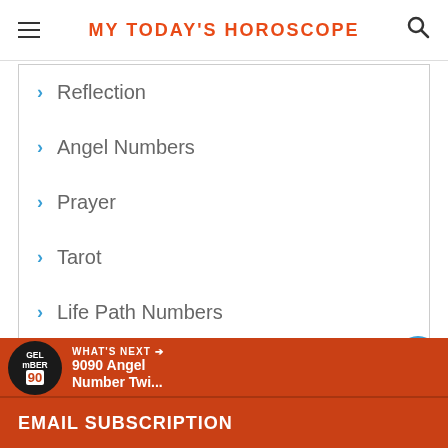MY TODAY'S HOROSCOPE
Reflection
Angel Numbers
Prayer
Tarot
Life Path Numbers
3
WHAT'S NEXT → 9090 Angel Number Twi...
EMAIL SUBSCRIPTION